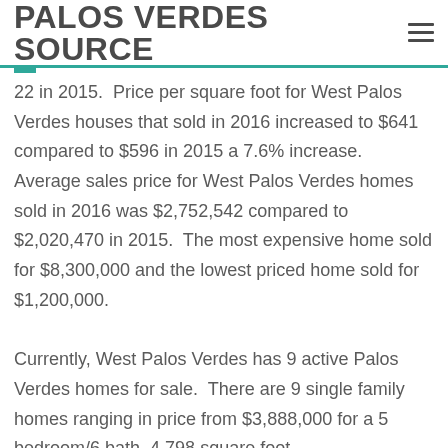PALOS VERDES SOURCE
22 in 2015.  Price per square foot for West Palos Verdes houses that sold in 2016 increased to $641 compared to $596 in 2015 a 7.6% increase.  Average sales price for West Palos Verdes homes sold in 2016 was $2,752,542 compared to $2,020,470 in 2015.  The most expensive home sold for $8,300,000 and the lowest priced home sold for $1,200,000.
Currently, West Palos Verdes has 9 active Palos Verdes homes for sale.  There are 9 single family homes ranging in price from $3,888,000 for a 5 bedroom/6 bath, 4,798 square foot